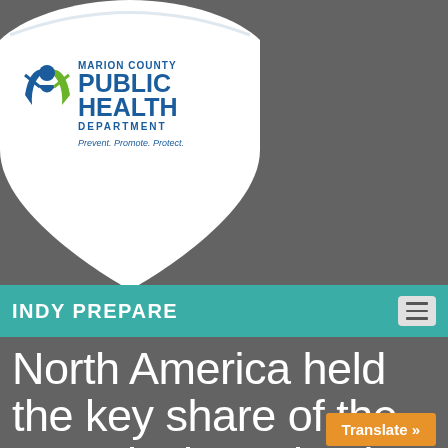[Figure (logo): Marion County Public Health Department shield logo with green and blue figure, tagline: Prevent. Promote. Protect.]
INDY PREPARE
North America held the key share of the RFID lock market in